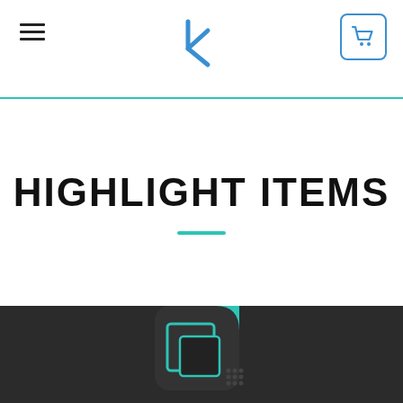Navigation header with hamburger menu, logo, and cart button
HIGHLIGHT ITEMS
[Figure (screenshot): Dark section with a product app icon showing overlapping square/window UI elements in teal and dark colors]